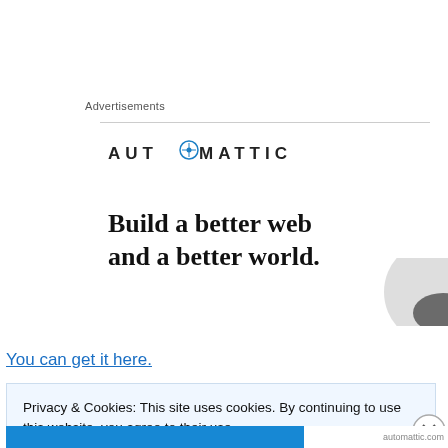Advertisements
[Figure (logo): Automattic logo with compass icon replacing the letter O]
[Figure (illustration): Advertisement banner: Build a better web and a better world. with partial circular graphic on the right.]
You can get it here.
Privacy & Cookies: This site uses cookies. By continuing to use this website, you agree to their use.
To find out more, including how to control cookies, see here: Cookie Policy
Close and accept